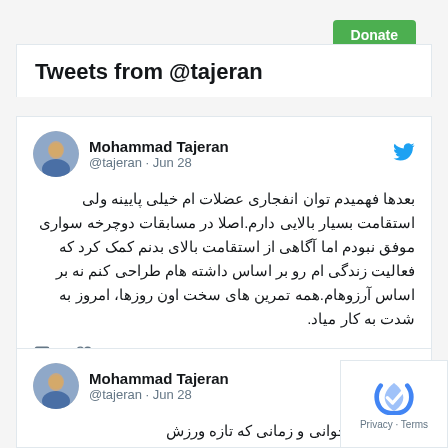Donate
Tweets from @tajeran
Mohammad Tajeran @tajeran · Jun 28
بعدها فهمیدم توان انفجاری عضلات ام خیلی پایینه ولی استقامت بسیار بالایی دارم.اصلا در مسابقات دوچرخه سواری موفق نبودم اما آگاهی از استقامت بالای بدنم کمک کرد که فعالیت زندگی ام رو بر اساس داشته هام طراحی کنم نه بر اساس آرزوهام.همه تمرین های سخت اون روزها، امروز به شدت به کار مياد.
4
Mohammad Tajeran @tajeran · Jun 28
تو دوران نوجوانی و زمانی که تازه ورزش